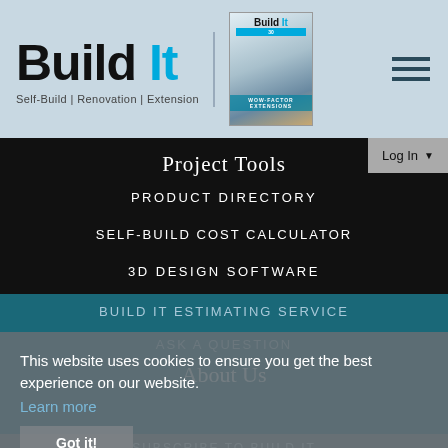Build It — Self-Build | Renovation | Extension
Project Tools
PRODUCT DIRECTORY
SELF-BUILD COST CALCULATOR
3D DESIGN SOFTWARE
BUILD IT ESTIMATING SERVICE
ASK A QUESTION
About Us
This website uses cookies to ensure you get the best experience on our website.
Learn more
Got it!
SUBSCRIBE TO BUILD IT
ADVERTISING
BUILD IT MAGAZINE